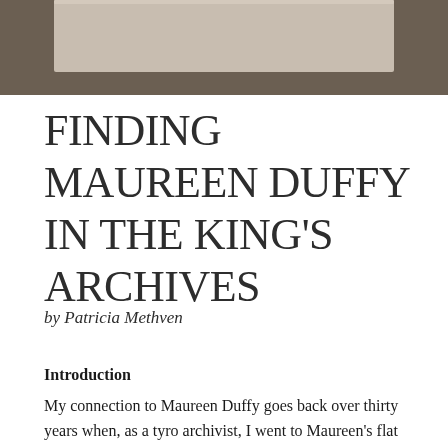[Figure (photo): Photograph banner at the top of the page, showing a brownish/taupe background with a lighter rectangular image inset at the top center.]
FINDING MAUREEN DUFFY IN THE KING'S ARCHIVES
by Patricia Methven
Introduction
My connection to Maureen Duffy goes back over thirty years when, as a tyro archivist, I went to Maureen’s flat in Brompton Rd in 1981 following her request that she